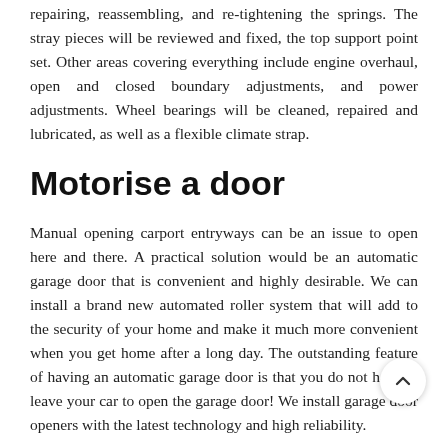repairing, reassembling, and re-tightening the springs. The stray pieces will be reviewed and fixed, the top support point set. Other areas covering everything include engine overhaul, open and closed boundary adjustments, and power adjustments. Wheel bearings will be cleaned, repaired and lubricated, as well as a flexible climate strap.
Motorise a door
Manual opening carport entryways can be an issue to open here and there. A practical solution would be an automatic garage door that is convenient and highly desirable. We can install a brand new automated roller system that will add to the security of your home and make it much more convenient when you get home after a long day. The outstanding feature of having an automatic garage door is that you do not have to leave your car to open the garage door! We install garage door openers with the latest technology and high reliability.
Roller doors for sale Sydney can be difficult to lift if you have an